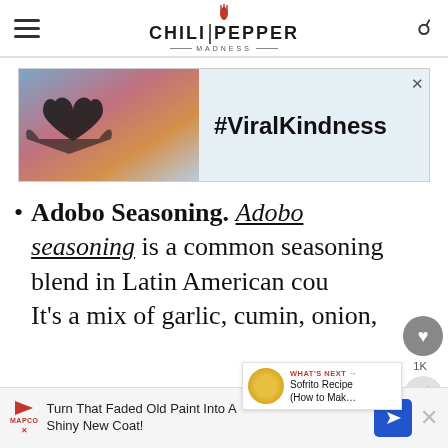Chili Pepper Madness
[Figure (photo): Advertisement banner with sunset background, heart-shaped hands silhouette, and text #ViralKindness]
Adobo Seasoning. Adobo seasoning is a common seasoning blend in Latin American cou... It's a mix of garlic, cumin, onion,
[Figure (screenshot): What's Next popup: Sofrito Recipe (How to Mak...)]
[Figure (photo): Bottom advertisement: Turn That Faded Old Paint Into A Shiny New Coat!]